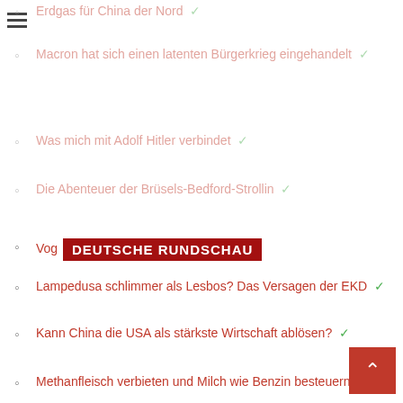Erdgas für China der Nord ✓
Macron hat sich einen latenten Bürgerkrieg eingehandelt ✓
Was mich mit Adolf Hitler verbindet ✓
Die Abenteuer der Brüsels-Bedford-Strollin ✓
Vog… DEUTSCHE RUNDSCHAU
Lampedusa schlimmer als Lesbos? Das Versagen der EKD ✓
Kann China die USA als stärkste Wirtschaft ablösen? ✓
Methanfleisch verbieten und Milch wie Benzin besteuern ✓
Umvolkung ✓
Europe Needs Desinization ✓
Europa braucht die Desinisierung ✓
Wann endet die Pandemie? ✓
Es wird nie wieder so werden wie zuvor ✓
Falls Italien das Virus nicht stoppen kann ✓
Fordert das Coronavirus Triage? ✓
Libyen: kein osmanischer Traum ✓